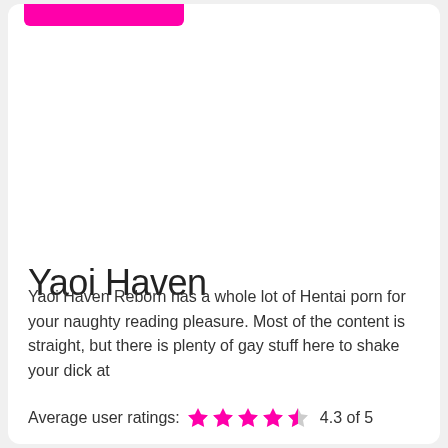[Figure (other): Pink rounded rectangle button/bar at top of card]
Yaoi Haven
Yaoi Haven Reborn has a whole lot of Hentai porn for your naughty reading pleasure. Most of the content is straight, but there is plenty of gay stuff here to shake your dick at
Average user ratings: 4.3 of 5